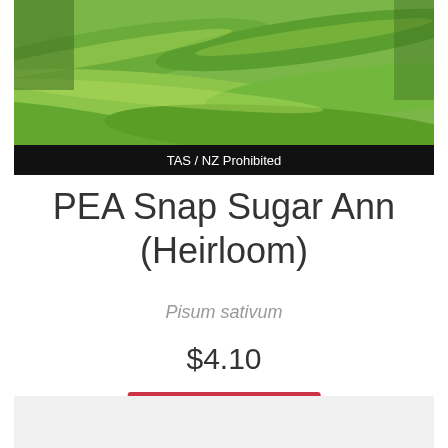[Figure (photo): Close-up photo of green snap pea pods with a black banner at the bottom reading 'TAS / NZ Prohibited']
PEA Snap Sugar Ann (Heirloom)
Pisum sativum
$4.10
OUT OF STOCK